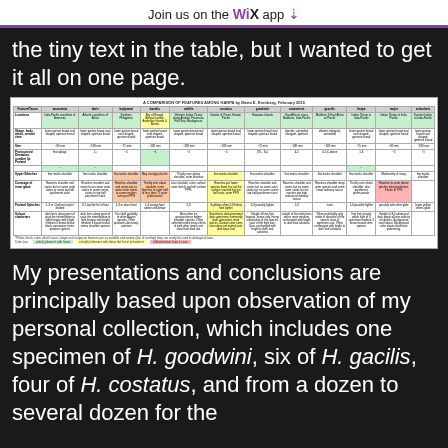Join us on the WiX app
the tiny text in the table, but I wanted to get it all on one page.
[Figure (table-as-image): A comparison of features among Harpa species, by Maria E. Kronberg, February 2016. Multi-column table with rows for Locations, Shape/body whorl/ventral view, Size, Pronounced/Dentation/number lip/Parietal, Upper Blotches, Coverage of inner glaze, Parietal Splashes, Unique characters. Columns for various Harpa species. Color-coded cells in green, yellow, and orange.]
*Photo check: color, whorl count, shape and sculptural features are so variable and similar (lots of overlap) they can rarely be used to distinguish taxa. Color key: (none) doesn't matter with fewer 'a helpful element with these the 'here' to hatten it'      differentiation from it case
My presentations and conclusions are principally based upon observation of my personal collection, which includes one specimen of H. goodwini, six of H. gacilis, four of H. costatus, and from a dozen to several dozen for the